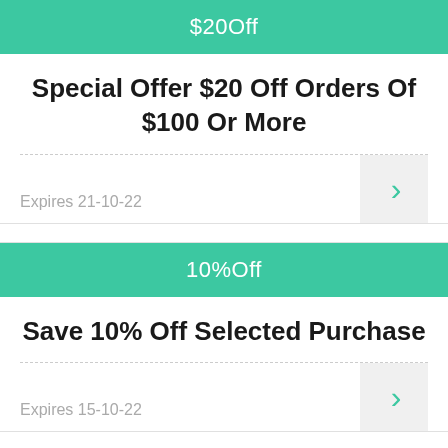$20Off
Special Offer $20 Off Orders Of $100 Or More
Expires 21-10-22
10%Off
Save 10% Off Selected Purchase
Expires 15-10-22
15%Off